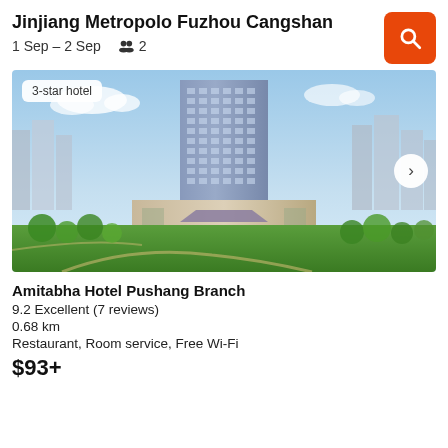Jinjiang Metropolo Fuzhou Cangshan
1 Sep – 2 Sep   👥 2
[Figure (photo): Exterior photo of a tall luxury hotel tower with glass facade surrounded by green parkland and urban buildings; labeled '3-star hotel']
Amitabha Hotel Pushang Branch
9.2 Excellent (7 reviews)
0.68 km
Restaurant, Room service, Free Wi-Fi
$93+